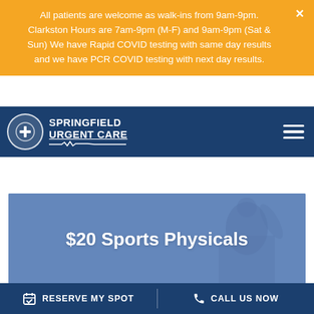All patients are welcome as walk-ins from 9am-9pm. Clarkston Hours are 7am-9pm (M-F) and 9am-9pm (Sat & Sun) We have Rapid COVID testing with same day results and we have PCR COVID testing with next day results.
[Figure (logo): Springfield Urgent Care logo with cross icon and ECG line on navy navigation bar]
[Figure (photo): Blue-tinted hero image of a person with '$20 Sports Physicals' text overlay]
RESERVE MY SPOT   CALL US NOW